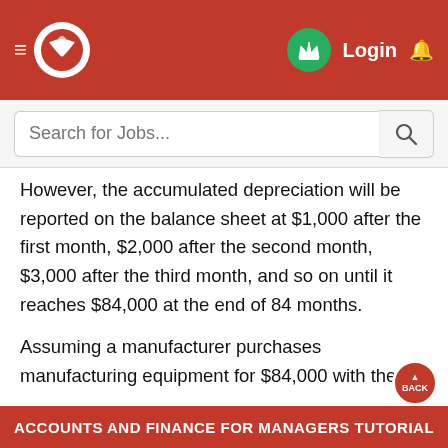Login — Accounts and Finance for Managers Tutorial
However, the accumulated depreciation will be reported on the balance sheet at $1,000 after the first month, $2,000 after the second month, $3,000 after the third month, and so on until it reaches $84,000 at the end of 84 months.
Assuming a manufacturer purchases manufacturing equipment for $84,000 with the same life and salvage value, the $1,000 of monthly depreciation will be part of manufacturing overhead (instead of being reported directly on the income statement as depreciation expense). As part of manufacturing
ACCOUNTS AND FINANCE FOR MANAGERS TUTORIAL